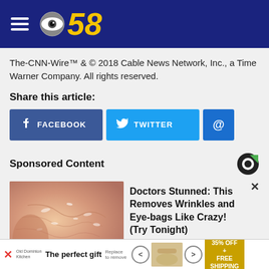CBS 58
The-CNN-Wire™ & © 2018 Cable News Network, Inc., a Time Warner Company. All rights reserved.
Share this article:
[Figure (infographic): Social share buttons: Facebook, Twitter, Email (@)]
Sponsored Content
[Figure (photo): Close-up skin texture image, advertisement for wrinkle/eye-bag removal product]
Doctors Stunned: This Removes Wrinkles and Eye-bags Like Crazy! (Try Tonight)
The perfect gift | 35% OFF + FREE SHIPPING